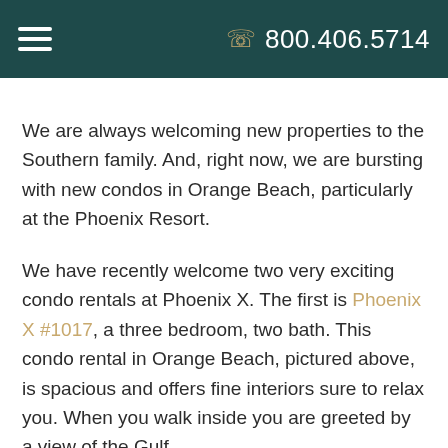☰  800.406.5714
We are always welcoming new properties to the Southern family. And, right now, we are bursting with new condos in Orange Beach, particularly at the Phoenix Resort.
We have recently welcome two very exciting condo rentals at Phoenix X. The first is Phoenix X #1017, a three bedroom, two bath. This condo rental in Orange Beach, pictured above, is spacious and offers fine interiors sure to relax you. When you walk inside you are greeted by a view of the Gulf of Mexico through the large, open balcony doors.